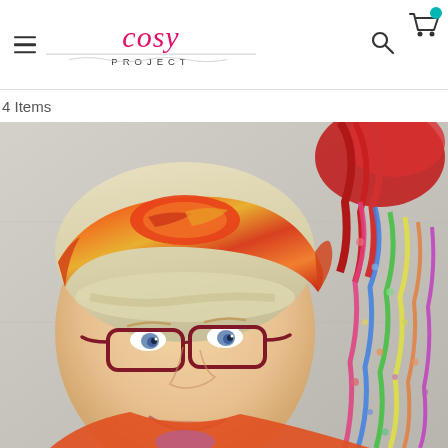Cosy Project – navigation header with hamburger menu, logo, search icon, and cart icon
4 Items
[Figure (photo): Close-up photo of a smiling woman with short blonde hair wearing a colourful orange, yellow and red patterned fabric headband/turban and dark red glasses. She is wearing an orange top. In the background to the right hangs colourful yarn or fabric ribbons in red, green, yellow, blue and pink tones. The background wall is a pale grey-green colour.]